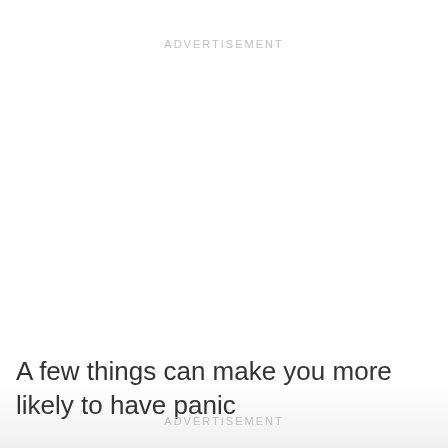ADVERTISEMENT
A few things can make you more likely to have panic
ADVERTISEMENT